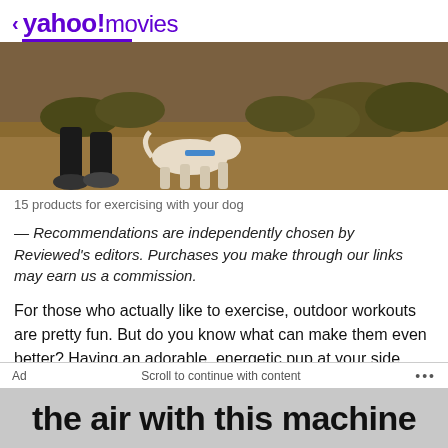< yahoo!movies
[Figure (photo): Person running on a dirt trail with a dog beside them, outdoor desert scrubland setting]
15 products for exercising with your dog
— Recommendations are independently chosen by Reviewed's editors. Purchases you make through our links may earn us a commission.
For those who actually like to exercise, outdoor workouts are pretty fun. But do you know what can make them even better? Having an adorable, energetic pup at your side while you log those miles.
Ad   Scroll to continue with content   ...
[Figure (screenshot): Ad banner with bold text: the air with this machine]